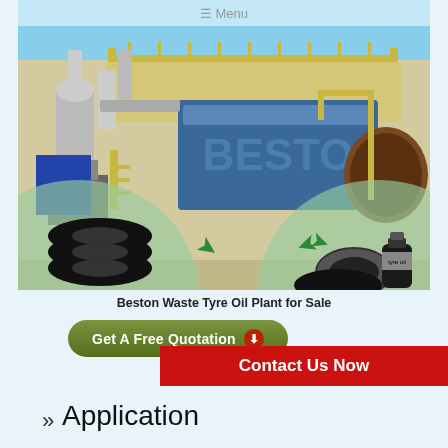[Figure (photo): Industrial waste tyre pyrolysis plant (Beston brand) with tyre inputs on left and tyre oil/carbon black outputs on right, overlaid with green circles and arrows showing the process flow.]
Beston Waste Tyre Oil Plant for Sale
Get A Free Quotation ⬇
Contact Us Now
Application